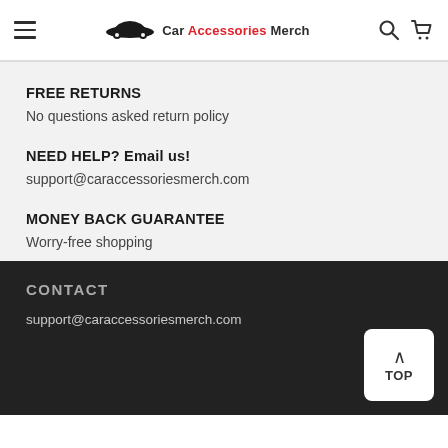Car Accessories Merch
FREE RETURNS
No questions asked return policy
NEED HELP? Email us!
support@caraccessoriesmerch.com
MONEY BACK GUARANTEE
Worry-free shopping
CONTACT
support@caraccessoriesmerch.com